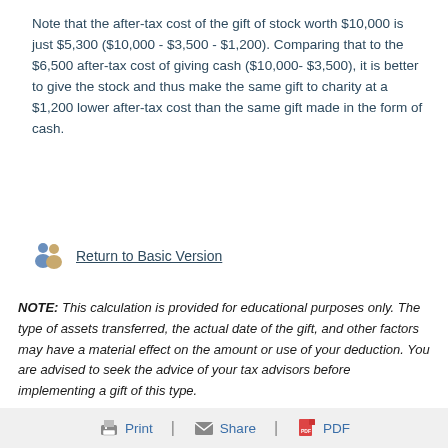Note that the after-tax cost of the gift of stock worth $10,000 is just $5,300 ($10,000 - $3,500 - $1,200). Comparing that to the $6,500 after-tax cost of giving cash ($10,000- $3,500), it is better to give the stock and thus make the same gift to charity at a $1,200 lower after-tax cost than the same gift made in the form of cash.
Return to Basic Version
NOTE: This calculation is provided for educational purposes only. The type of assets transferred, the actual date of the gift, and other factors may have a material effect on the amount or use of your deduction. You are advised to seek the advice of your tax advisors before implementing a gift of this type.
Print | Share | PDF